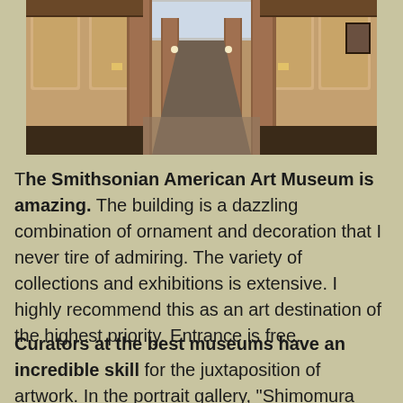[Figure (photo): Interior hallway of the Smithsonian American Art Museum, showing grand ornamental columns, decorated walls with arched panels, a skylight ceiling, and a long corridor receding into the distance with warm lighting.]
The Smithsonian American Art Museum is amazing. The building is a dazzling combination of ornament and decoration that I never tire of admiring. The variety of collections and exhibitions is extensive. I highly recommend this as an art destination of the highest priority. Entrance is free.
Curators at the best museums have an incredible skill for the juxtaposition of artwork. In the portrait gallery, "Shimomura Crossing the Delaware" by Richard Shimomura hung directly across from a portrait of Bill and Melinda Gates by Jon B...